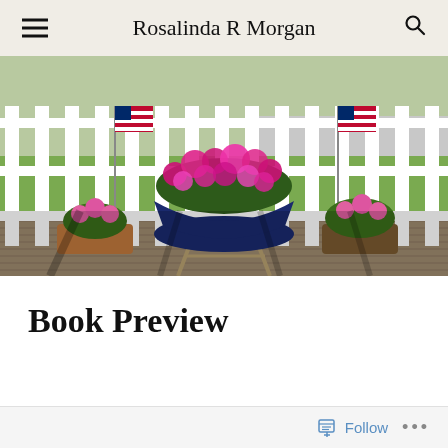Rosalinda R Morgan
[Figure (photo): A porch scene with a navy blue boat-shaped planter filled with vibrant pink/magenta flowers on a wrought iron stand, flanked by two small American flags and potted pink flowers, with a white fence and green lawn in the background.]
Book Preview
Follow ...